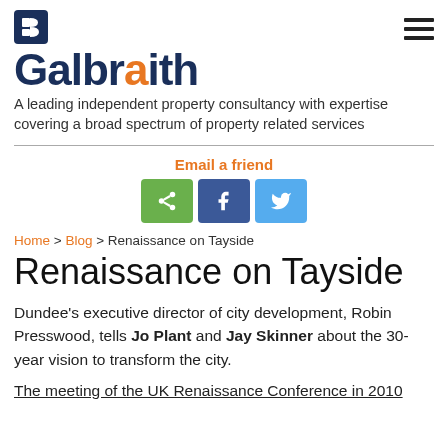[Figure (logo): Galbraith logo with dark blue letter B icon and brand name 'Galbraith' in dark blue with an orange dot above the 'i']
A leading independent property consultancy with expertise covering a broad spectrum of property related services
[Figure (infographic): Email a friend section with green share button, blue Facebook button, and light blue Twitter button]
Home > Blog > Renaissance on Tayside
Renaissance on Tayside
Dundee's executive director of city development, Robin Presswood, tells Jo Plant and Jay Skinner about the 30-year vision to transform the city.
The meeting of the UK Renaissance Conference in 2010